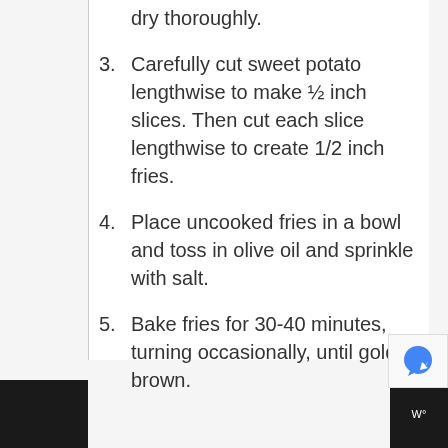dry thoroughly.
3. Carefully cut sweet potato lengthwise to make ½ inch slices. Then cut each slice lengthwise to create 1/2 inch fries.
4. Place uncooked fries in a bowl and toss in olive oil and sprinkle with salt.
5. Bake fries for 30-40 minutes, turning occasionally, until golden brown.